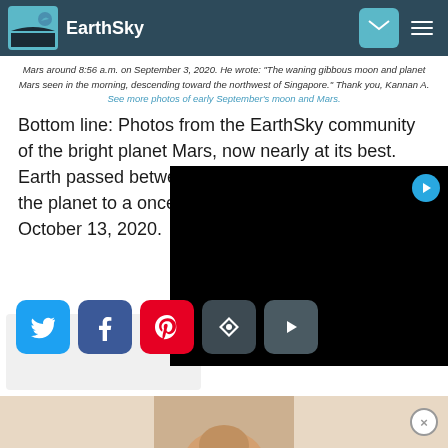EarthSky
Mars around 8:56 a.m. on September 3, 2020. He wrote: "The waning gibbous moon and planet Mars seen in the morning, descending toward the northwest of Singapore." Thank you, Kannan A. See more photos of early September's moon and Mars.
Bottom line: Photos from the EarthSky community of the bright planet Mars, now nearly at its best. Earth passed between Mars and the sun – bringing the planet to a once-in-two-years opposition – on October 13, 2020.
[Figure (screenshot): Social share buttons: Twitter (blue), Facebook (dark blue), Pinterest (red), and two dark share buttons. A black video player overlay with a cyan play button in top-right corner.]
Posted October 13, 2020
[Figure (photo): Partial face of a person visible at the bottom of the page in an advertisement bar.]